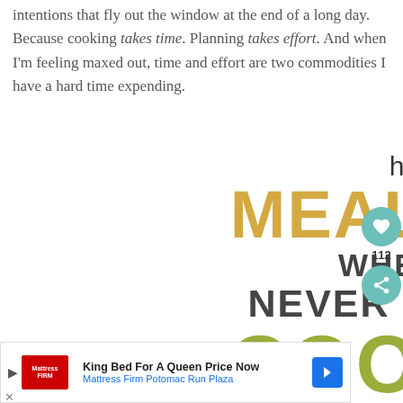intentions that fly out the window at the end of a long day. Because cooking takes time. Planning takes effort. And when I'm feeling maxed out, time and effort are two commodities I have a hard time expending.
[Figure (infographic): Infographic with text: 'how to MEAL PLAN WHEN YOU NEVER FEEL LIKE COOKING' in layered typography with gold, dark, and olive-green colors]